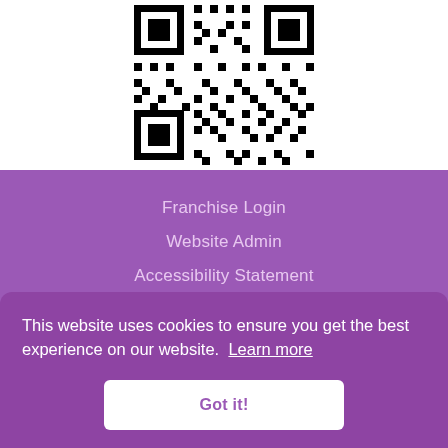[Figure (other): QR code image centered at top of page]
Franchise Login
Website Admin
Accessibility Statement
Privacy Policy
This website uses cookies to ensure you get the best experience on our website. Learn more
Got it!